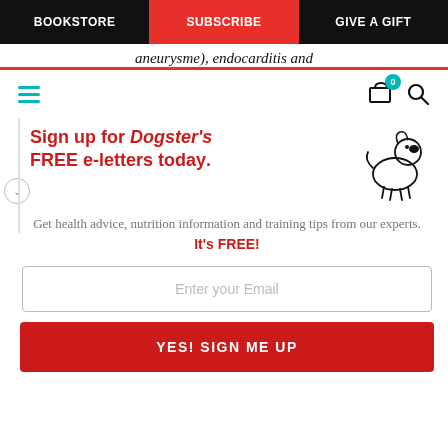BOOKSTORE | SUBSCRIBE | GIVE A GIFT
aneurysme), endocarditis and
[Figure (illustration): Navigation toolbar with hamburger menu (teal), shopping cart icon with badge showing 0, and search icon]
[Figure (illustration): Cartoon line drawing of a small dog sitting and looking up]
Sign up for Dogster's FREE e-letters today.
Get health advice, nutrition information and training tips from our experts. It's FREE!
Enter your Email
YES! SIGN ME UP